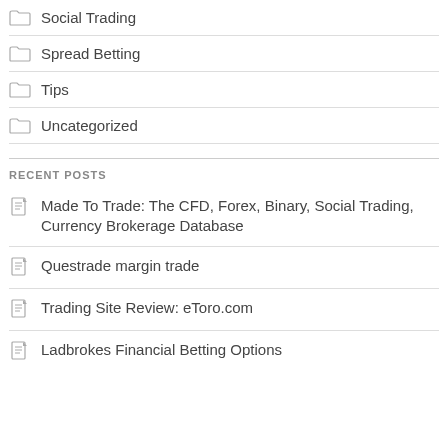Social Trading
Spread Betting
Tips
Uncategorized
RECENT POSTS
Made To Trade: The CFD, Forex, Binary, Social Trading, Currency Brokerage Database
Questrade margin trade
Trading Site Review: eToro.com
Ladbrokes Financial Betting Options